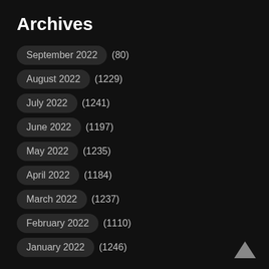Archives
September 2022  (80)
August 2022  (1229)
July 2022  (1241)
June 2022  (1197)
May 2022  (1235)
April 2022  (1184)
March 2022  (1237)
February 2022  (1110)
January 2022  (1246)